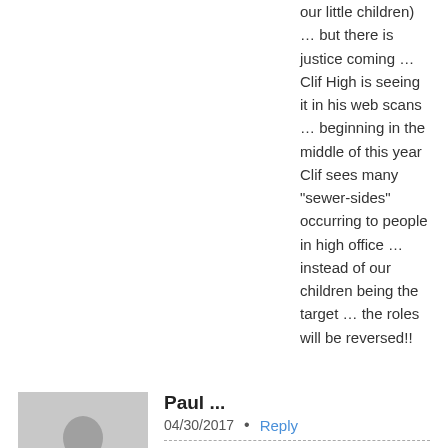our little children) … but there is justice coming … Clif High is seeing it in his web scans … beginning in the middle of this year Clif sees many “sewer-sides” occurring to people in high office … instead of our children being the target … the roles will be reversed!!
Paul ...  04/30/2017  •  Reply
Frederick … just so you know … I know the Saudi’s did not act alone … but just because “others were involved” … does not give the Saudi’s a “free pass” … if “a gang” of crooks rob a bank and only one brought before the court … should that crook be released of all culpability in the bank heist just because “the others” have not been caught yet??